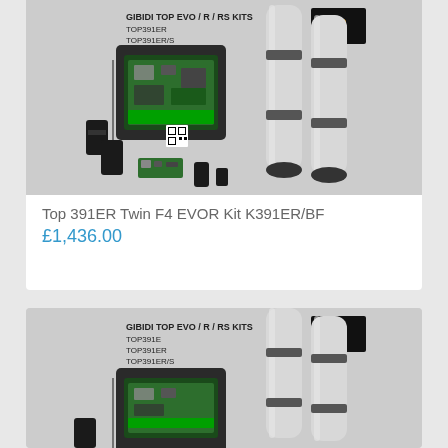[Figure (photo): GIBIDI TOP EVO/R/RS KITS product image showing TOP391ER, TOP391ER/S models — control unit box, two cylindrical actuator arms, sensors, remote controls, and circuit board]
Top 391ER Twin F4 EVOR Kit K391ER/BF
£1,436.00
[Figure (photo): GIBIDI TOP EVO/R/RS KITS product image showing TOP391E, TOP391ER, TOP391ER/S models — control unit box, two cylindrical actuator arms, and G:BDI 50th anniversary logo]